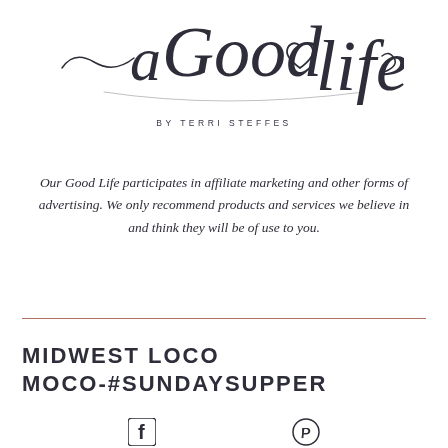[Figure (logo): Cursive script logo reading 'a Good Life' with a small heart between 'Good' and 'Life']
BY TERRI STEFFES
Our Good Life participates in affiliate marketing and other forms of advertising. We only recommend products and services we believe in and think they will be of use to you.
MIDWEST LOCO MOCO-#SUNDAYSUPPER
[Figure (illustration): Social media icons: Facebook and Pinterest]